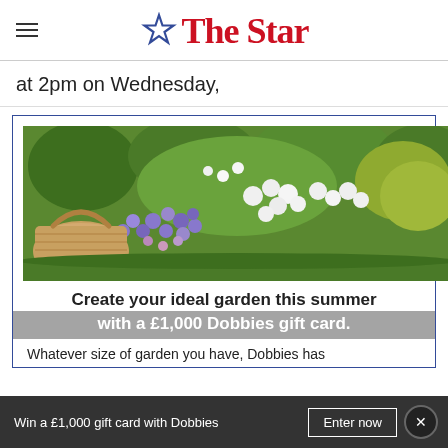The Star
at 2pm on Wednesday,
[Figure (photo): Garden with colourful flowers including purple, white and pink blooms with green foliage and a wooden basket]
Create your ideal garden this summer with a £1,000 Dobbies gift card.
Whatever size of garden you have, Dobbies has
Win a £1,000 gift card with Dobbies  Enter now  ×